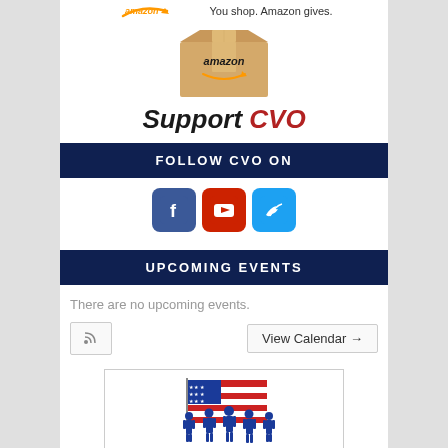[Figure (logo): Amazon Smile logo with tagline 'You shop. Amazon gives.' and Amazon package box below, with text 'Support CVO' in bold italic black and red]
FOLLOW CVO ON
[Figure (logo): Three social media icons: Facebook (blue rounded square with f), YouTube (red rounded square with play button), Twitter (light blue rounded square with bird)]
UPCOMING EVENTS
There are no upcoming events.
RSS feed icon button | View Calendar →
[Figure (logo): America's Heroes Group logo with US flag and silhouettes of soldiers, blue text 'AMERICA'S HEROES GROUP', red subtitle 'TO SERVE AND PROTECT OUR CITIZENS AND THE UNITED STATES OF AMERICA']